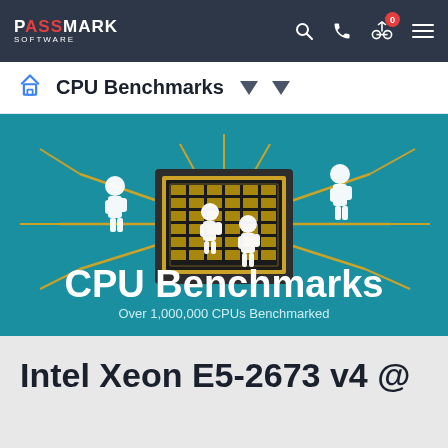PassMark Software — Navigation bar with CPU Benchmarks
CPU Benchmarks
[Figure (illustration): CPU Benchmarks hero banner with teal background showing illustrated workers in white lab coats assembling a large CPU chip with gold circuits. Text reads 'CPU Benchmarks' and 'Over 1,000,000 CPUs Benchmarked']
Intel Xeon E5-2673 v4 @